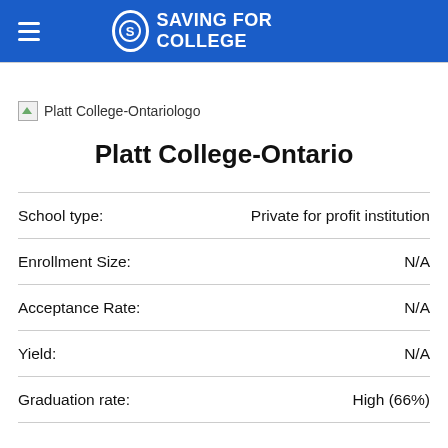SAVING FOR COLLEGE
[Figure (logo): Platt College-Ontario logo (broken image placeholder)]
Platt College-Ontario
| Field | Value |
| --- | --- |
| School type: | Private for profit institution |
| Enrollment Size: | N/A |
| Acceptance Rate: | N/A |
| Yield: | N/A |
| Graduation rate: | High (66%) |